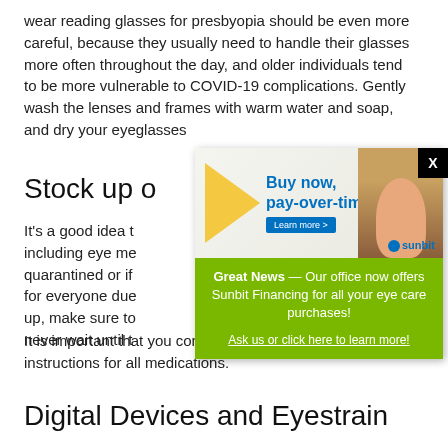wear reading glasses for presbyopia should be even more careful, because they usually need to handle their glasses more often throughout the day, and older individuals tend to be more vulnerable to COVID-19 complications. Gently wash the lenses and frames with warm water and soap, and dry your eyeglasses
[Figure (other): Advertisement popup for Sunbit Financing with 'Buy now, pay-over-time.' headline, a woman with red hair, an X close button, and text: Great News — Our office now offers Sunbit Financing for all your eye care purchases! Ask us or click here to learn more!]
Stock up o
It's a good idea t including eye me quarantined or if for everyone due up, make sure to never wait until t
It is important that you continue to follow your doctor's instructions for all medications.
Digital Devices and Eyestrain